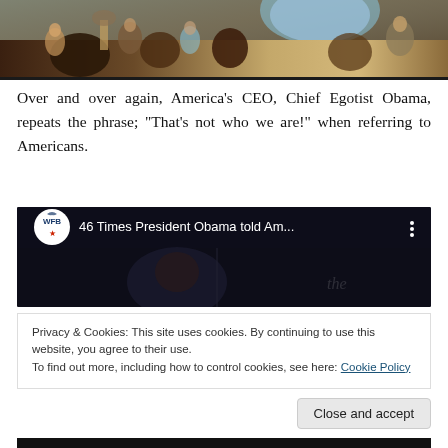[Figure (photo): Partial view of a classical painting showing multiple figures in a historical/religious scene with warm earthy tones]
Over and over again, America's CEO, Chief Egotist Obama, repeats the phrase; “That’s not who we are!” when referring to Americans.
[Figure (screenshot): Embedded YouTube video thumbnail showing '46 Times President Obama told Am...' with WFB logo, dark background with figure]
Privacy & Cookies: This site uses cookies. By continuing to use this website, you agree to their use.
To find out more, including how to control cookies, see here: Cookie Policy
Close and accept